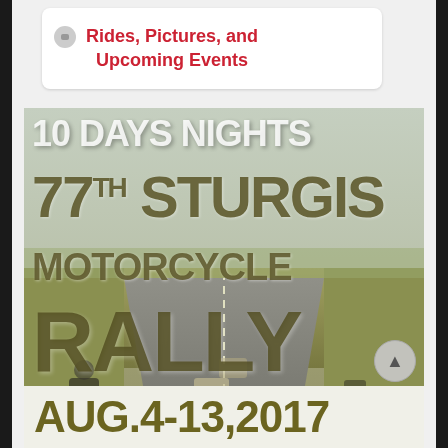Rides, Pictures, and Upcoming Events
[Figure (photo): Promotional poster for the 77th Sturgis Motorcycle Rally. Text reads '10 DAYS NIGHTS', '77th STURGIS', 'MOTORCYCLE', 'RALLY', overlaid on a photo of motorcycles riding on a highway with green fields and sky. Date shown: AUG. 4-13, 2017.]